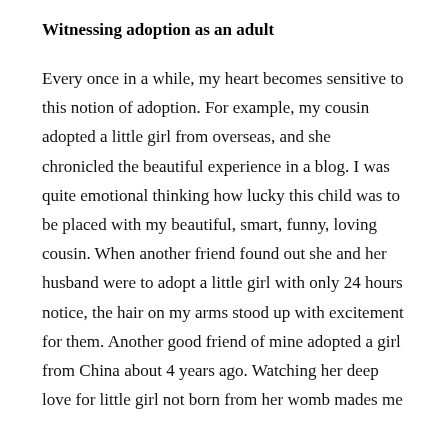Witnessing adoption as an adult
Every once in a while, my heart becomes sensitive to this notion of adoption. For example, my cousin adopted a little girl from overseas, and she chronicled the beautiful experience in a blog. I was quite emotional thinking how lucky this child was to be placed with my beautiful, smart, funny, loving cousin. When another friend found out she and her husband were to adopt a little girl with only 24 hours notice, the hair on my arms stood up with excitement for them. Another good friend of mine adopted a girl from China about 4 years ago. Watching her deep love for little girl not born from her womb mades me